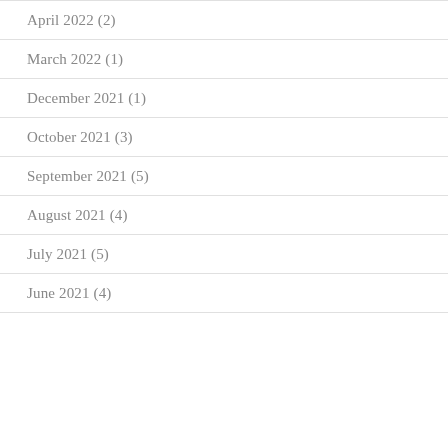April 2022 (2)
March 2022 (1)
December 2021 (1)
October 2021 (3)
September 2021 (5)
August 2021 (4)
July 2021 (5)
June 2021 (4)